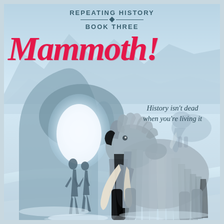REPEATING HISTORY
BOOK THREE
Mammoth!
History isn't dead when you're living it
[Figure (illustration): Book cover illustration showing two silhouetted figures walking into a glowing cave arch in an icy landscape, with a large woolly mammoth in the foreground right and another mammoth in the background.]